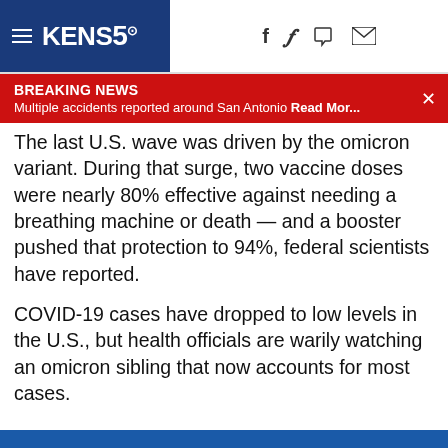KENS5
BREAKING NEWS
Multiple accidents reported around San Antonio Read Mor...
The last U.S. wave was driven by the omicron variant. During that surge, two vaccine doses were nearly 80% effective against needing a breathing machine or death — and a booster pushed that protection to 94%, federal scientists have reported.
COVID-19 cases have dropped to low levels in the U.S., but health officials are warily watching an omicron sibling that now accounts for most cases.
Related Articles
Biden receives 2nd booster as US launches covid.gov site